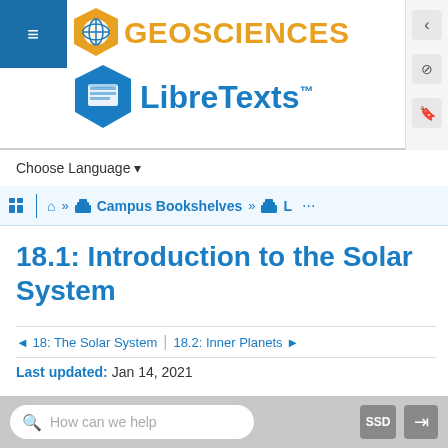[Figure (logo): LibreTexts Geosciences logo with hexagonal book icon and globe icon, with orange GEOSCIENCES text and blue LibreTexts text]
Choose Language ▾
Home » Campus Bookshelves » L ...
18.1: Introduction to the Solar System
◄ 18: The Solar System | 18.2: Inner Planets ►
Last updated: Jan 14, 2021
+ Table of contents